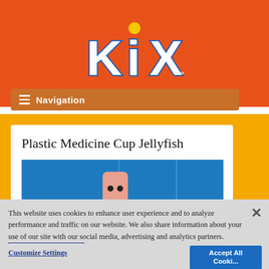[Figure (logo): KIX cereal brand logo in white and blue lettering on orange background with yellow ball above the 'i']
[Figure (screenshot): Navigation bar with hamburger menu icon and 'Navigation' text on brown/orange background]
Plastic Medicine Cup Jellyfish
[Figure (photo): Photo of a jellyfish craft made from a plastic medicine cup on a blue background]
This website uses cookies to enhance user experience and to analyze performance and traffic on our website. We also share information about your use of our site with our social media, advertising and analytics partners. Link to Cookie Policy
Customize Settings
Accept All Cookies